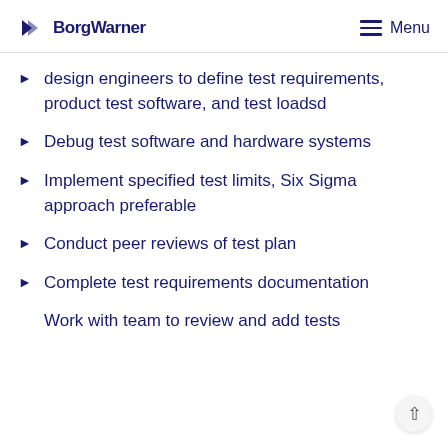BorgWarner | Menu
design engineers to define test requirements, product test software, and test loadsd
Debug test software and hardware systems
Implement specified test limits, Six Sigma approach preferable
Conduct peer reviews of test plan
Complete test requirements documentation
Work with team to review and add tests